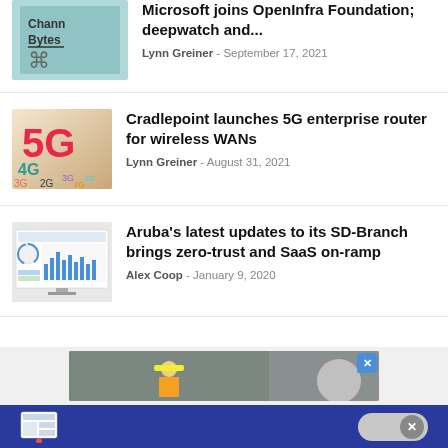[Figure (screenshot): Channel Bytes thumbnail - teal background with 'Chann Bytes' text and icon]
Channel Bytes September 17, 2021: Microsoft joins OpenInfra Foundation; deepwatch and...
Lynn Greiner - September 17, 2021
[Figure (photo): 5G technology image with large red 5G text and 4G, 3G, 2G labels on warm background]
Cradlepoint launches 5G enterprise router for wireless WANs
Lynn Greiner - August 31, 2021
[Figure (screenshot): Dashboard screenshot showing analytics charts on a monitor]
Aruba's latest updates to its SD-Branch brings zero-trust and SaaS on-ramp
Alex Coop - January 9, 2020
[Figure (photo): Advertisement banner with construction worker image]
Navigation bar with table icon and close button